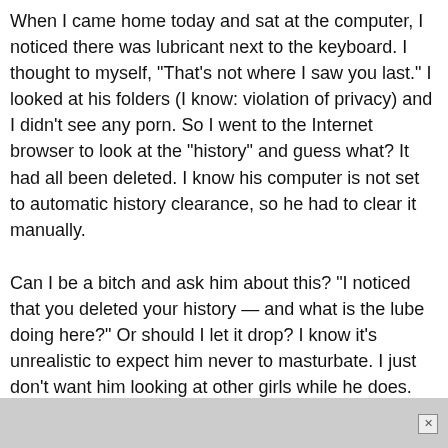When I came home today and sat at the computer, I noticed there was lubricant next to the keyboard. I thought to myself, "That's not where I saw you last." I looked at his folders (I know: violation of privacy) and I didn't see any porn. So I went to the Internet browser to look at the "history" and guess what? It had all been deleted. I know his computer is not set to automatic history clearance, so he had to clear it manually.
Can I be a bitch and ask him about this? "I noticed that you deleted your history — and what is the lube doing here?" Or should I let it drop? I know it's unrealistic to expect him never to masturbate. I just don't want him looking at other girls while he does. My bitchy side is just roaring to get out. Help! —Keep The Bitch Caged
A: What to do here, KTBC, is fall not to censor the...